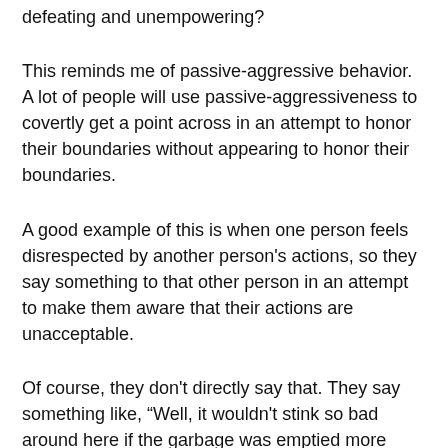defeating and unempowering?
This reminds me of passive-aggressive behavior. A lot of people will use passive-aggressiveness to covertly get a point across in an attempt to honor their boundaries without appearing to honor their boundaries.
A good example of this is when one person feels disrespected by another person's actions, so they say something to that other person in an attempt to make them aware that their actions are unacceptable.
Of course, they don't directly say that. They say something like, “Well, it wouldn't stink so bad around here if the garbage was emptied more than once a week”, or “It'd be great if we could meet the deadline, but someone on the team isn't